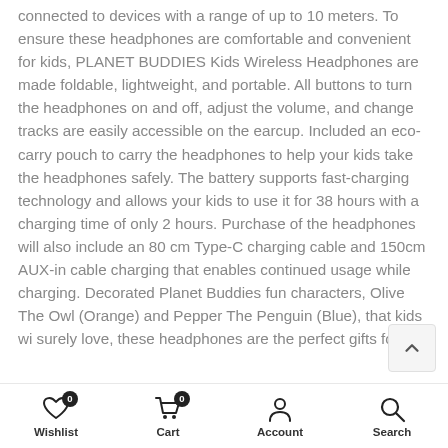connected to devices with a range of up to 10 meters. To ensure these headphones are comfortable and convenient for kids, PLANET BUDDIES Kids Wireless Headphones are made foldable, lightweight, and portable. All buttons to turn the headphones on and off, adjust the volume, and change tracks are easily accessible on the earcup. Included an eco-carry pouch to carry the headphones to help your kids take the headphones safely. The battery supports fast-charging technology and allows your kids to use it for 38 hours with a charging time of only 2 hours. Purchase of the headphones will also include an 80 cm Type-C charging cable and 150cm AUX-in cable charging that enables continued usage while charging. Decorated Planet Buddies fun characters, Olive The Owl (Orange) and Pepper The Penguin (Blue), that kids wi surely love, these headphones are the perfect gifts fo
Wishlist 0 | Cart 0 | Account | Search